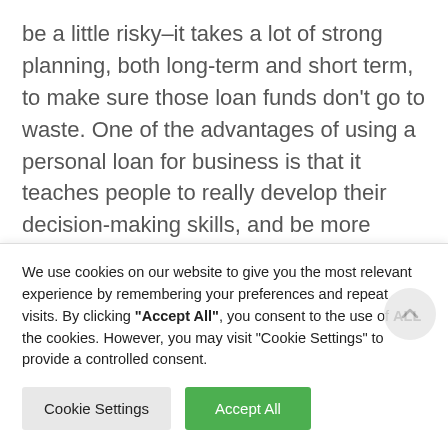be a little risky–it takes a lot of strong planning, both long-term and short term, to make sure those loan funds don't go to waste. One of the advantages of using a personal loan for business is that it teaches people to really develop their decision-making skills, and be more careful and aware of how they spend their money.

Some people leave their respective careers so
We use cookies on our website to give you the most relevant experience by remembering your preferences and repeat visits. By clicking "Accept All", you consent to the use of ALL the cookies. However, you may visit "Cookie Settings" to provide a controlled consent.